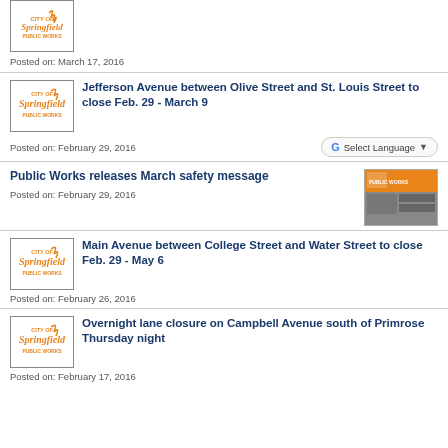Posted on: March 17, 2016
Jefferson Avenue between Olive Street and St. Louis Street to close Feb. 29 - March 9
Posted on: February 29, 2016
Public Works releases March safety message
Posted on: February 29, 2016
Main Avenue between College Street and Water Street to close Feb. 29 - May 6
Posted on: February 26, 2016
Overnight lane closure on Campbell Avenue south of Primrose Thursday night
Posted on: February 17, 2016